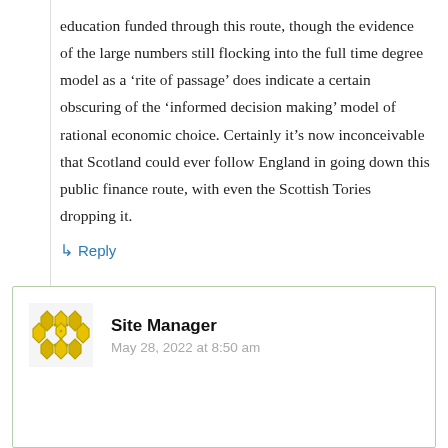education funded through this route, though the evidence of the large numbers still flocking into the full time degree model as a 'rite of passage' does indicate a certain obscuring of the 'informed decision making' model of rational economic choice. Certainly it's now inconceivable that Scotland could ever follow England in going down this public finance route, with even the Scottish Tories dropping it.
↳ Reply
Site Manager
May 28, 2022 at 8:50 am